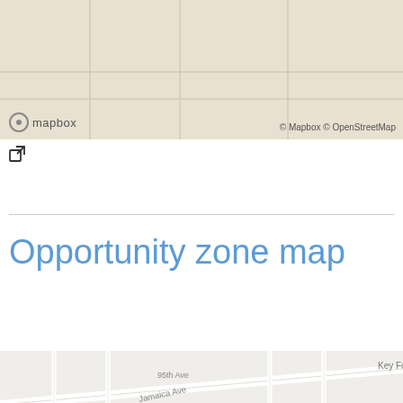[Figure (map): Top partial map view showing a beige/tan street map area (Mapbox style), with Mapbox logo and © Mapbox © OpenStreetMap attribution]
[Figure (other): External link icon (square with arrow)]
Opportunity zone map
[Figure (map): Street map showing Jamaica, Queens NY area with streets including Jamaica Ave, 99th Ave, 110th Ave, 208th St, 210th St, 211th St, 214th St, 219th St, 220th St, Key Food label, Tropical Jerk label, LAIRE neighborhood label. Map style from Mapbox/OpenStreetMap.]